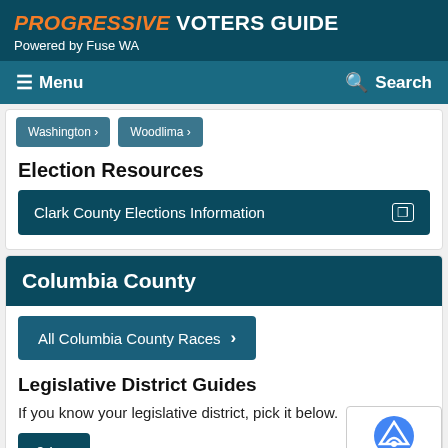PROGRESSIVE VOTERS GUIDE Powered by Fuse WA
Menu   Search
Washington > Woodlima >
Election Resources
Clark County Elections Information
Columbia County
All Columbia County Races >
Legislative District Guides
If you know your legislative district, pick it below.
9th >